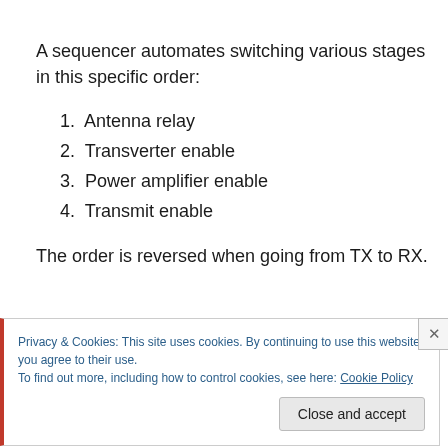A sequencer automates switching various stages in this specific order:
1. Antenna relay
2. Transverter enable
3. Power amplifier enable
4. Transmit enable
The order is reversed when going from TX to RX.
Privacy & Cookies: This site uses cookies. By continuing to use this website, you agree to their use. To find out more, including how to control cookies, see here: Cookie Policy
Close and accept